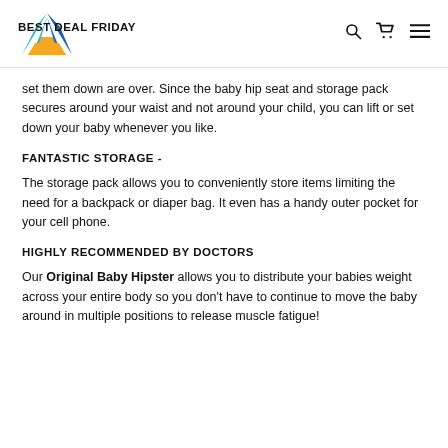BEST DEAL FRIDAY
set them down are over. Since the baby hip seat and storage pack secures around your waist and not around your child, you can lift or set down your baby whenever you like.
FANTASTIC STORAGE -
The storage pack allows you to conveniently store items limiting the need for a backpack or diaper bag. It even has a handy outer pocket for your cell phone.
HIGHLY RECOMMENDED BY DOCTORS
Our Original Baby Hipster allows you to distribute your babies weight across your entire body so you don't have to continue to move the baby around in multiple positions to release muscle fatigue!